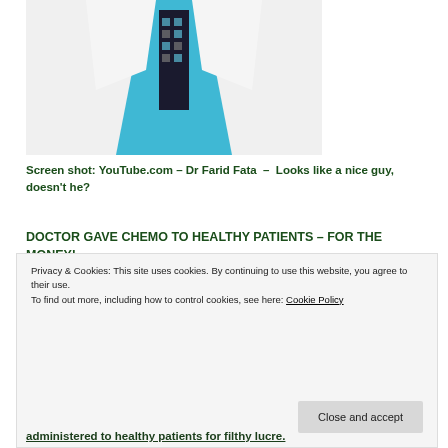[Figure (photo): Photo of Dr Farid Fata from YouTube, showing a man in a white doctor's coat with a teal shirt and patterned tie]
Screen shot: YouTube.com – Dr Farid Fata  –  Looks like a nice guy, doesn't he?
DOCTOR GAVE CHEMO TO HEALTHY PATIENTS – FOR THE MONEY!
A Michigan doctor told over 500 healthy patients they had cancer, so he could administer chemotherapy treatments and collect $34 million from insurance
administered to healthy patients for filthy lucre.
Privacy & Cookies: This site uses cookies. By continuing to use this website, you agree to their use. To find out more, including how to control cookies, see here: Cookie Policy